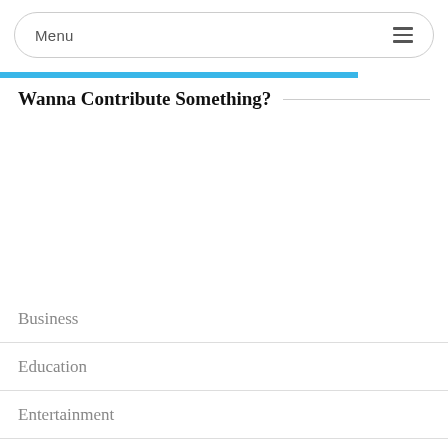Menu
Wanna Contribute Something?
Business
Education
Entertainment
Gaming